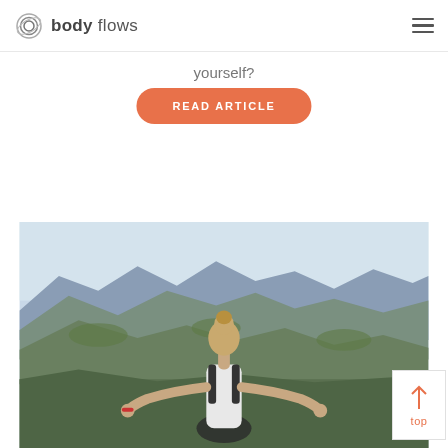body flows
yourself?
READ ARTICLE
[Figure (photo): Woman seen from behind sitting in yoga/meditation pose on a mountain summit, arms out in a mudra gesture, wearing a white tank top and black sports bra, with an expansive mountain range landscape in the background under a hazy blue sky.]
top